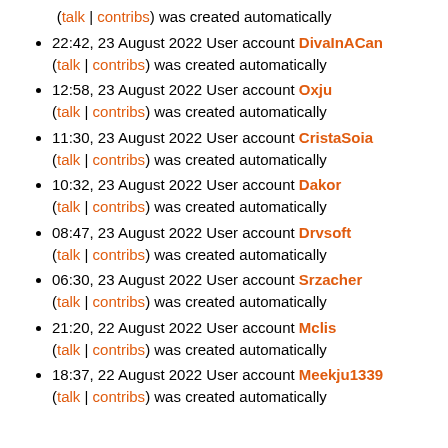(talk | contribs) was created automatically
22:42, 23 August 2022 User account DivaInACan (talk | contribs) was created automatically
12:58, 23 August 2022 User account Oxju (talk | contribs) was created automatically
11:30, 23 August 2022 User account CristaSoia (talk | contribs) was created automatically
10:32, 23 August 2022 User account Dakor (talk | contribs) was created automatically
08:47, 23 August 2022 User account Drvsoft (talk | contribs) was created automatically
06:30, 23 August 2022 User account Srzacher (talk | contribs) was created automatically
21:20, 22 August 2022 User account Mclis (talk | contribs) was created automatically
18:37, 22 August 2022 User account Meekju1339 (talk | contribs) was created automatically